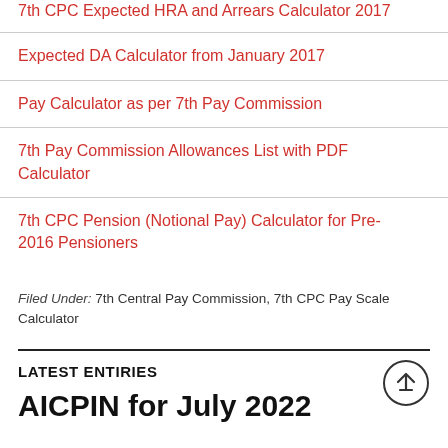7th CPC Expected HRA and Arrears Calculator 2017
Expected DA Calculator from January 2017
Pay Calculator as per 7th Pay Commission
7th Pay Commission Allowances List with PDF Calculator
7th CPC Pension (Notional Pay) Calculator for Pre-2016 Pensioners
Filed Under: 7th Central Pay Commission, 7th CPC Pay Scale Calculator
LATEST ENTIRIES
AICPIN for July 2022